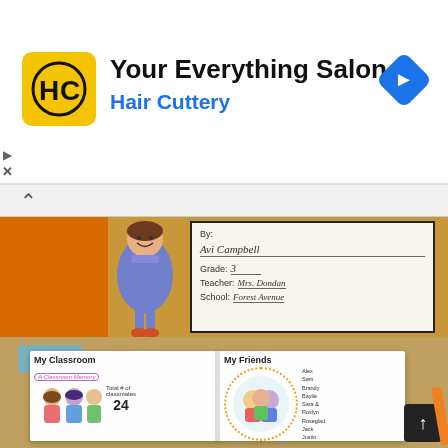[Figure (screenshot): Mobile advertisement banner for Hair Cuttery salon with yellow HC logo, title 'Your Everything Salon', subtitle 'Hair Cuttery', and blue navigation arrow icon on the right]
Your Everything Salon
Hair Cuttery
[Figure (photo): Close-up photo of a colorful children's classroom memory book cover page showing a drawn student character, and handwritten text: By: Avi Campbell, Grade 3, Teacher: Mrs. Dondan, School: Forest Avenue]
[Figure (photo): Photo of an open children's classroom memory book showing two pages: left page titled 'My Classroom / A Classroom Memory' with drawn kids and '24' visible, right page titled 'My Friends' with drawn children in a circle and a list of friend names]